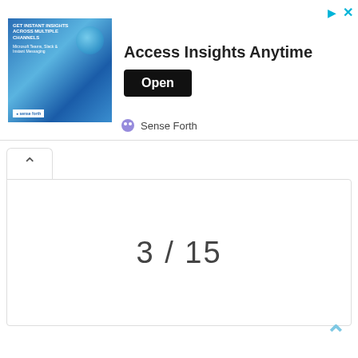[Figure (screenshot): Advertisement banner: image of woman on left with globe graphic and text 'GET INSTANT INSIGHTS ACROSS MULTIPLE CHANNELS', headline 'Access Insights Anytime' with Open button, sponsored by Sense Forth]
3 / 15
[Figure (other): Up chevron navigation arrow in teal/light blue color at bottom right]